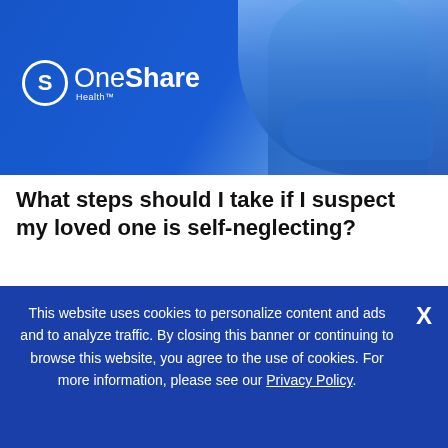[Figure (illustration): OneShare Health branded header image with a man in a blue shirt standing with arms crossed against a blue background, with the OneShare Health logo on the left side]
What steps should I take if I suspect my loved one is self-neglecting?
If you notice signs of self-neglect in your loved one, you can reach Adult Protective Services (APS) by phone to make a report. The National Adult Protective Services Association website will
This website uses cookies to personalize content and ads and to analyze traffic. By closing this banner or continuing to browse this website, you agree to the use of cookies. For more information, please see our Privacy Policy.